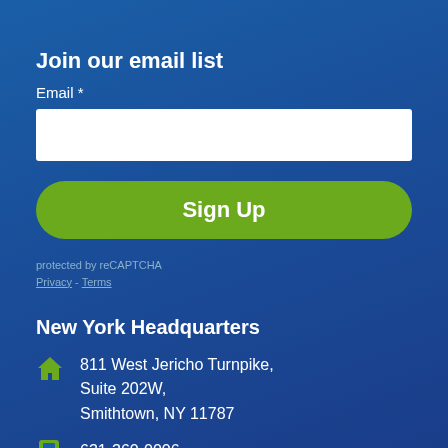Join our email list
Email *
Sign Up
protected by reCAPTCHA
Privacy - Terms
New York Headquarters
811 West Jericho Turnpike, Suite 202W, Smithtown, NY 11787
631-360-0006
info@energiasaves.com